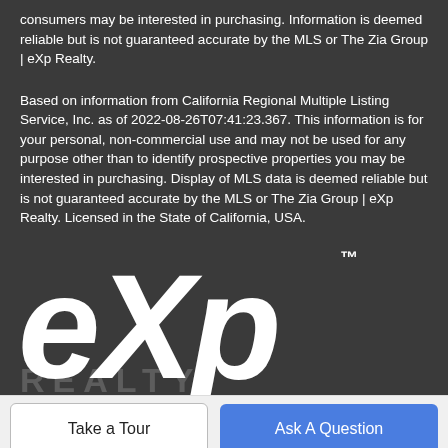consumers may be interested in purchasing. Information is deemed reliable but is not guaranteed accurate by the MLS or The Zia Group | eXp Realty.
Based on information from California Regional Multiple Listing Service, Inc. as of 2022-08-26T07:41:23.367. This information is for your personal, non-commercial use and may not be used for any purpose other than to identify prospective properties you may be interested in purchasing. Display of MLS data is deemed reliable but is not guaranteed accurate by the MLS or The Zia Group | eXp Realty. Licensed in the State of California, USA.
[Figure (logo): eXp Realty logo in white on dark background with TM trademark symbol and REALTY text watermark]
Take a Tour
Ask A Question